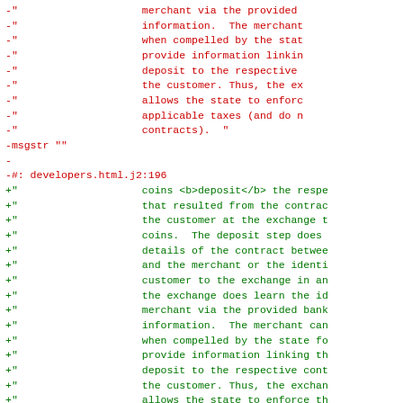diff output showing red (removed) and green (added) lines in a code/localization file
-" merchant via the provided
-" information.  The merchant
-" when compelled by the stat
-" provide information linkin
-" deposit to the respective
-" the customer. Thus, the ex
-" allows the state to enforc
-" applicable taxes (and do n
-" contracts).  "
-msgstr ""
-
-#: developers.html.j2:196
+"                    coins <b>deposit</b> the respe
+"                    that resulted from the contrac
+"                    the customer at the exchange t
+"                    coins.  The deposit step does
+"                    details of the contract betwee
+"                    and the merchant or the identi
+"                    customer to the exchange in an
+"                    the exchange does learn the id
+"                    merchant via the provided bank
+"                    information.  The merchant can
+"                    when compelled by the state fo
+"                    provide information linking th
+"                    deposit to the respective cont
+"                    the customer. Thus, the exchan
+"                    allows the state to enforce th
+"                    applicable taxes (and do not e
+"                    contracts).  "
+msgstr ""